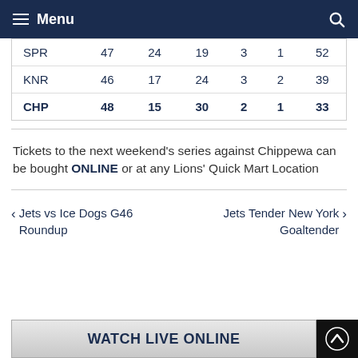Menu
| SPR | 47 | 24 | 19 | 3 | 1 | 52 |
| KNR | 46 | 17 | 24 | 3 | 2 | 39 |
| CHP | 48 | 15 | 30 | 2 | 1 | 33 |
Tickets to the next weekend's series against Chippewa can be bought ONLINE or at any Lions' Quick Mart Location
‹ Jets vs Ice Dogs G46 Roundup
Jets Tender New York Goaltender ›
WATCH LIVE ONLINE